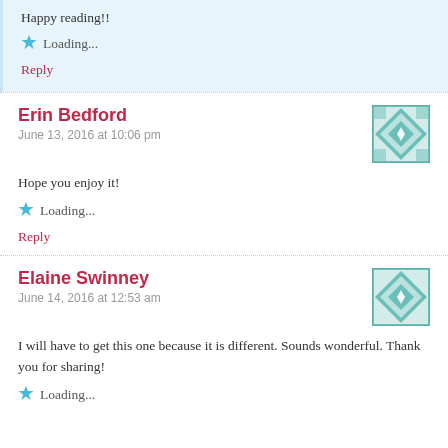Happy reading!!
Loading...
Reply
Erin Bedford
June 13, 2016 at 10:06 pm
Hope you enjoy it!
Loading...
Reply
Elaine Swinney
June 14, 2016 at 12:53 am
I will have to get this one because it is different. Sounds wonderful. Thank you for sharing!
Loading...